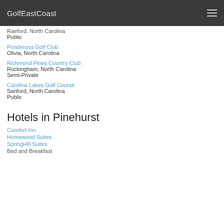GolfEastCoast
Raeford, North Carolina
Public
Ponderosa Golf Club
Olivia, North Carolina
Richmond Pines Country Club
Rockingham, North Carolina
Semi-Private
Carolina Lakes Golf Course
Sanford, North Carolina
Public
Hotels in Pinehurst
Comfort Inn
Homewood Suites
SpringHill Suites
Bed and Breakfast